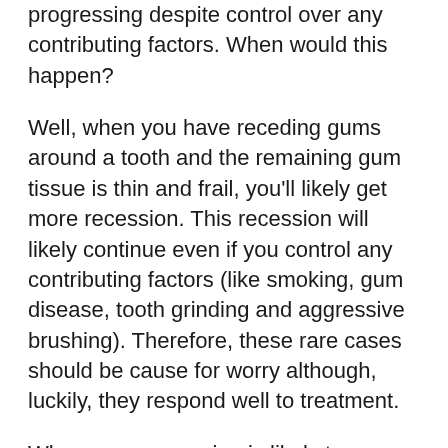progressing despite control over any contributing factors. When would this happen?
Well, when you have receding gums around a tooth and the remaining gum tissue is thin and frail, you'll likely get more recession. This recession will likely continue even if you control any contributing factors (like smoking, gum disease, tooth grinding and aggressive brushing). Therefore, these rare cases should be cause for worry although, luckily, they respond well to treatment.
Where gum recession is likely to progress, a Periodontist can provide a connective tissue